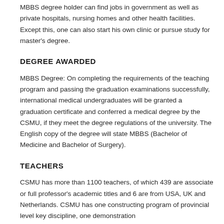MBBS degree holder can find jobs in government as well as private hospitals, nursing homes and other health facilities. Except this, one can also start his own clinic or pursue study for master's degree.
DEGREE AWARDED
MBBS Degree: On completing the requirements of the teaching program and passing the graduation examinations successfully, international medical undergraduates will be granted a graduation certificate and conferred a medical degree by the CSMU, if they meet the degree regulations of the university. The English copy of the degree will state MBBS (Bachelor of Medicine and Bachelor of Surgery).
TEACHERS
CSMU has more than 1100 teachers, of which 439 are associate or full professor's academic titles and 6 are from USA, UK and Netherlands. CSMU has one constructing program of provincial level key discipline, one demonstration